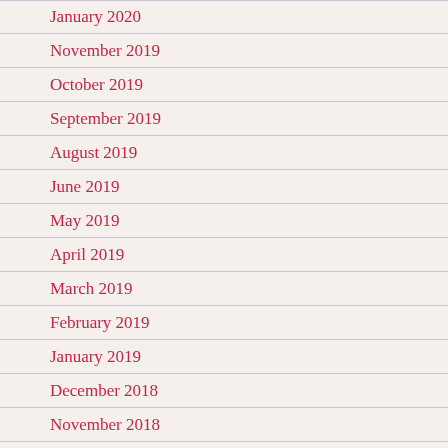January 2020
November 2019
October 2019
September 2019
August 2019
June 2019
May 2019
April 2019
March 2019
February 2019
January 2019
December 2018
November 2018